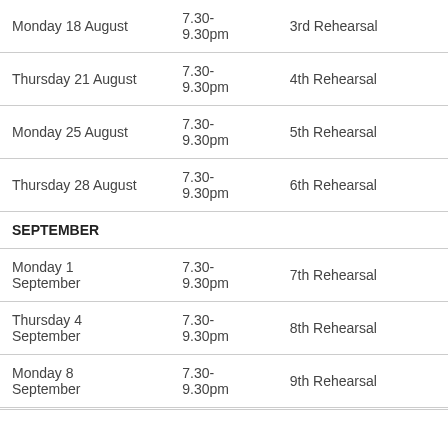| Date | Time | Event |
| --- | --- | --- |
| Monday 18 August | 7.30-9.30pm | 3rd Rehearsal |
| Thursday 21 August | 7.30-9.30pm | 4th Rehearsal |
| Monday 25 August | 7.30-9.30pm | 5th Rehearsal |
| Thursday 28 August | 7.30-9.30pm | 6th Rehearsal |
| SEPTEMBER |  |  |
| Monday 1 September | 7.30-9.30pm | 7th Rehearsal |
| Thursday 4 September | 7.30-9.30pm | 8th Rehearsal |
| Monday 8 September | 7.30-9.30pm | 9th Rehearsal |